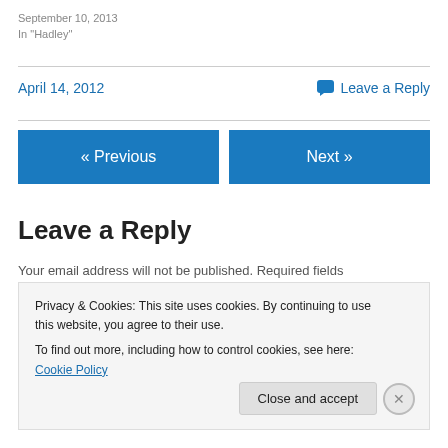September 10, 2013
In "Hadley"
April 14, 2012
💬 Leave a Reply
« Previous
Next »
Leave a Reply
Your email address will not be published. Required fields
Privacy & Cookies: This site uses cookies. By continuing to use this website, you agree to their use.
To find out more, including how to control cookies, see here: Cookie Policy
Close and accept